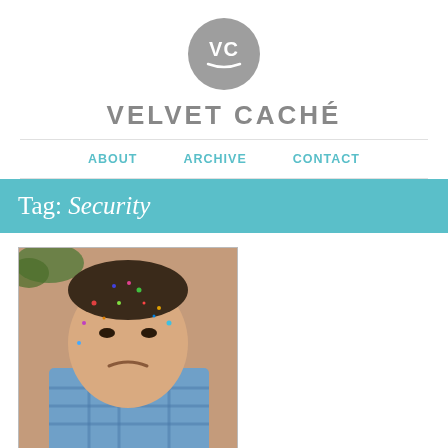[Figure (logo): Velvet Caché circular logo with 'VC' text and a lightning bolt underline, gray color]
VELVET CACHÉ
ABOUT   ARCHIVE   CONTACT
Tag: Security
[Figure (photo): Profile photo of John Hobbs, a man in a blue plaid shirt with confetti on his face, looking displeased, against a brick wall background]
John Hobbs
Software developer, meat smoker and poultry enthusiast.
❤ I Omaha.